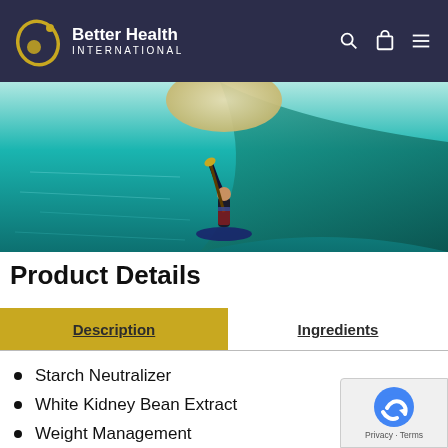Better Health International
[Figure (photo): Person paddleboarding on clear turquoise water with a large sandy island/moon shape visible in the background]
Product Details
Description | Ingredients (tab bar)
Starch Neutralizer
White Kidney Bean Extract
Weight Management